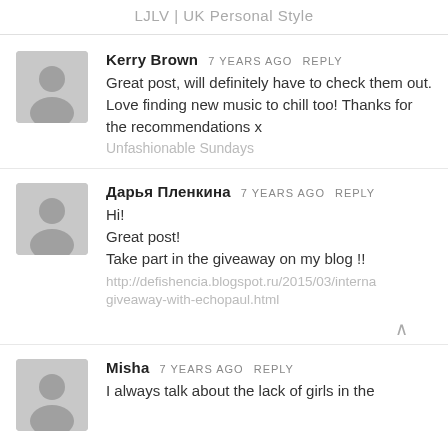LJLV | UK Personal Style
Kerry Brown  7 YEARS AGO  REPLY
Great post, will definitely have to check them out. Love finding new music to chill too! Thanks for the recommendations x
Unfashionable Sundays
Дарья Пленкина  7 YEARS AGO  REPLY
Hi!
Great post!
Take part in the giveaway on my blog !!
http://defishencia.blogspot.ru/2015/03/interna giveaway-with-echopaul.html
Misha  7 YEARS AGO  REPLY
I always talk about the lack of girls in the